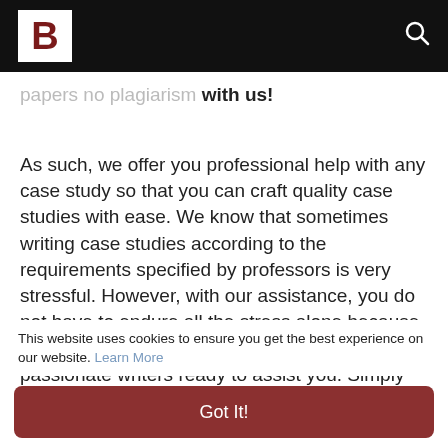B [logo] [search icon]
papers no plagiarism with us!
As such, we offer you professional help with any case study so that you can craft quality case studies with ease. We know that sometimes writing case studies according to the requirements specified by professors is very stressful. However, with our assistance, you do not have to endure all the stress alone because we have knowledgeable, experienced and passionate writers ready to assist you. Simply reach out to us any time for instant help with your
This website uses cookies to ensure you get the best experience on our website. Learn More
Got It!